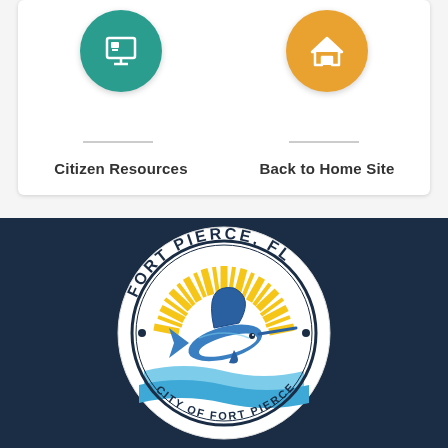[Figure (screenshot): Mobile app interface showing two navigation buttons: 'Citizen Resources' with a teal circle icon (briefcase/monitor icon) and 'Back to Home Site' with an orange circle icon (home icon), on a white card with light gray background]
Citizen Resources
Back to Home Site
[Figure (logo): Fort Pierce, FL city seal/logo on dark navy background — circular white badge with 'FORT PIERCE, FL' text in dark blue, featuring a sailfish jumping over stylized blue water with yellow sunburst rays behind it]